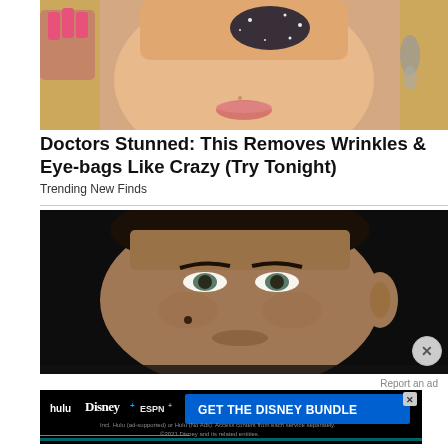[Figure (photo): Close-up of a blonde woman with decorative eye makeup, pink nails raised near her face, wearing drop earrings]
Doctors Stunned: This Removes Wrinkles & Eye-bags Like Crazy (Try Tonight)
Trending New Finds
[Figure (photo): Close-up of a young man with dark hair against a black background, looking at camera]
Report an ad
[Figure (screenshot): Disney Bundle advertisement: hulu, Disney+, ESPN+ logos with text GET THE DISNEY BUNDLE. Incl. Hulu (ad-supported) or Hulu (No Ads). Access content from each service separately. ©2021 Disney and its related entities.]